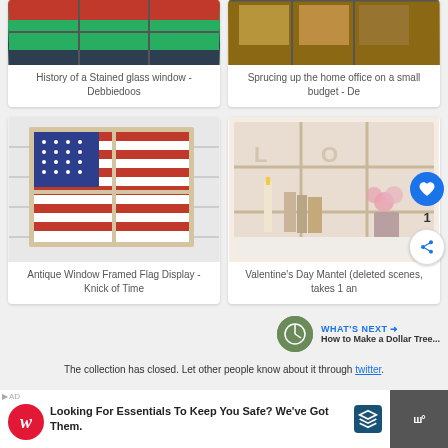[Figure (photo): Stained glass window with red and green colors]
History of a Stained glass window - Debbiedoos
[Figure (photo): Window with photos hanging in a home office setting]
Sprucing up the home office on a small budget - De
[Figure (photo): Antique window framing an American flag display on white siding]
Antique Window Framed Flag Display - Knick of Time
[Figure (photo): Valentine's Day mantel with LOVE letters, candles, and pink roses]
Valentine's Day Mantel (deleted scenes, takes 1 an
The collection has closed. Let other people know about it through twitter.
WHAT'S NEXT → How to Make a Dollar Tree...